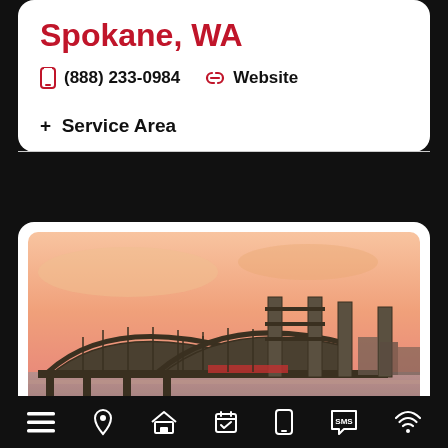Spokane, WA
(888) 233-0984   Website
+ Service Area
[Figure (photo): Photograph of a bridge at sunset over a river with orange-pink sky. Industrial lift bridge towers visible in background.]
Navigation bar with icons: menu, location, home, calendar/check, phone, SMS, signal/wifi